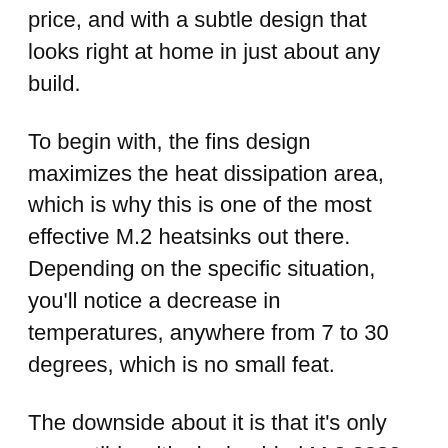price, and with a subtle design that looks right at home in just about any build.
To begin with, the fins design maximizes the heat dissipation area, which is why this is one of the most effective M.2 heatsinks out there. Depending on the specific situation, you’ll notice a decrease in temperatures, anywhere from 7 to 30 degrees, which is no small feat.
The downside about it is that it’s only compatible with single-sided M.2 2280 SSDs, which excludes some double-sided models. However, if you have a single-sided SSD, this is a great option to consider with